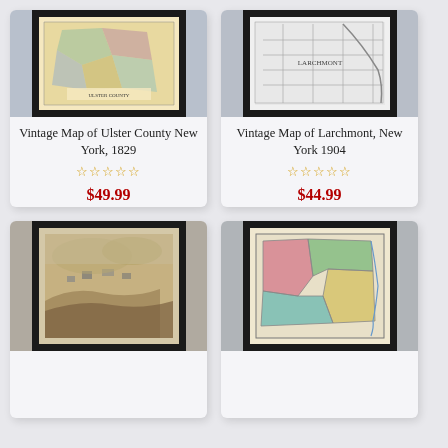[Figure (illustration): Framed vintage map of Ulster County New York 1829 with colorful regions]
Vintage Map of Ulster County New York, 1829
★★★★★ (0 ratings)
$49.99
[Figure (illustration): Framed vintage map of Larchmont New York 1904 in black and white]
Vintage Map of Larchmont, New York 1904
★★★★★ (0 ratings)
$44.99
[Figure (illustration): Framed vintage sepia aerial/bird's eye view photograph]
[Figure (map): Framed vintage colorful county map with pink, green, yellow, teal regions]